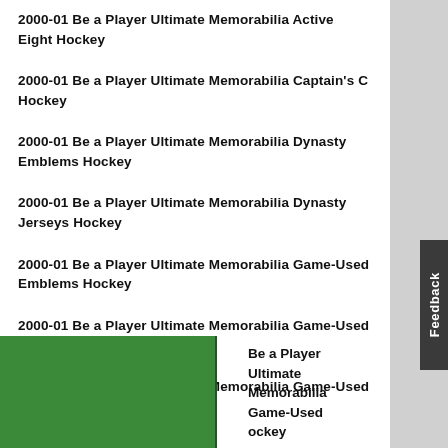2000-01 Be a Player Ultimate Memorabilia Active Eight Hockey
2000-01 Be a Player Ultimate Memorabilia Captain's C Hockey
2000-01 Be a Player Ultimate Memorabilia Dynasty Emblems Hockey
2000-01 Be a Player Ultimate Memorabilia Dynasty Jerseys Hockey
2000-01 Be a Player Ultimate Memorabilia Game-Used Emblems Hockey
2000-01 Be a Player Ultimate Memorabilia Game-Used In The Numbers Hockey
2000-01 Be a Player Ultimate Memorabilia Game-Used Jerseys Hockey
2000-01 Be a Player Ultimate Memorabilia Game-Used [continues] Hockey